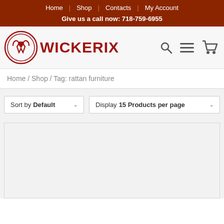Home | Shop | Contacts | My Account
Give us a call now: 718-759-6955
[Figure (logo): Wickerix logo with circular wicker/heart emblem and WICKERIX text in red]
Home / Shop / Tag: rattan furniture
Sort by Default
Display 15 Products per page
[Figure (other): Empty product listing area / placeholder box]